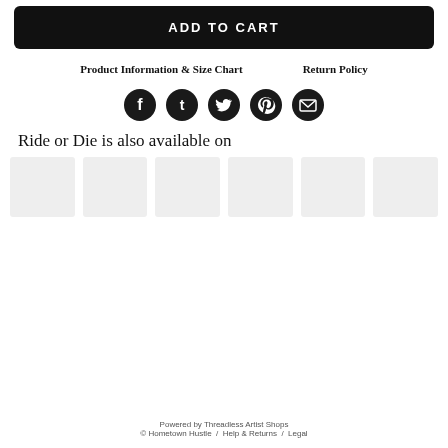ADD TO CART
Product Information & Size Chart   Return Policy
[Figure (infographic): Row of 5 social media share icons (Facebook, Tumblr, Twitter, Pinterest, Email) as dark circles with white symbols]
Ride or Die is also available on
[Figure (infographic): Row of 6 placeholder gray rectangle boxes representing product marketplace links]
Powered by Threadless Artist Shops
© Hometown Hustle  /  Help & Returns  /  Legal